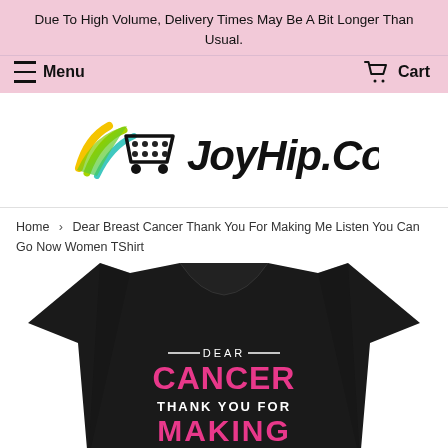Due To High Volume, Delivery Times May Be A Bit Longer Than Usual.
Menu   Cart
[Figure (logo): JoyHip.Com logo with colorful wing/cart design on left and bold italic text JoyHip.Com on right]
Home › Dear Breast Cancer Thank You For Making Me Listen You Can Go Now Women TShirt
[Figure (photo): Black t-shirt with pink text reading DEAR CANCER THANK YOU FOR MAKING... on front]